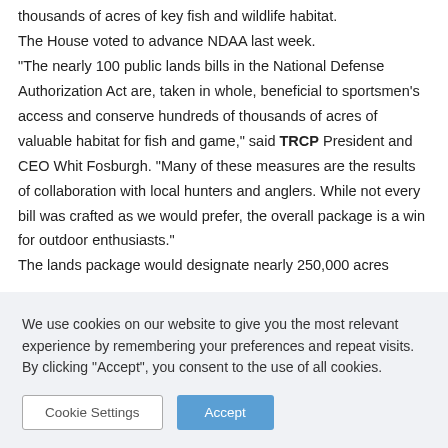thousands of acres of key fish and wildlife habitat. The House voted to advance NDAA last week. “The nearly 100 public lands bills in the National Defense Authorization Act are, taken in whole, beneficial to sportsmen’s access and conserve hundreds of thousands of acres of valuable habitat for fish and game,” said TRCP President and CEO Whit Fosburgh. “Many of these measures are the results of collaboration with local hunters and anglers. While not every bill was crafted as we would prefer, the overall package is a win for outdoor enthusiasts.” The lands package would designate nearly 250,000 acres
We use cookies on our website to give you the most relevant experience by remembering your preferences and repeat visits. By clicking “Accept”, you consent to the use of all cookies.
Cookie Settings
Accept